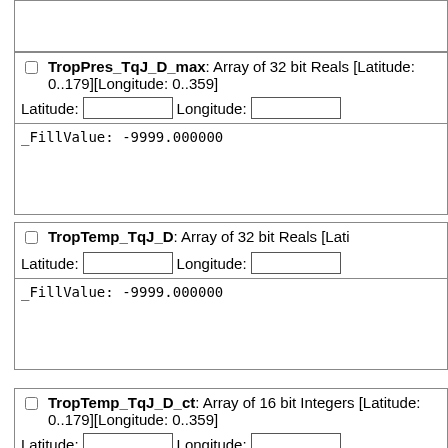TropPres_TqJ_D_max: Array of 32 bit Reals [Latitude: 0..179][Longitude: 0..359]
_FillValue: -9999.000000
TropTemp_TqJ_D: Array of 32 bit Reals [Latitude: ...][Longitude: ...]
_FillValue: -9999.000000
TropTemp_TqJ_D_ct: Array of 16 bit Integers [Latitude: 0..179][Longitude: 0..359]
_FillValue: 0